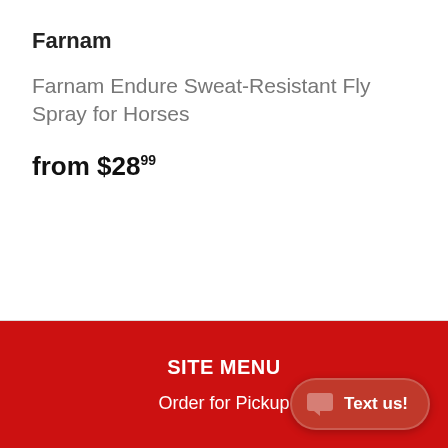Farnam
Farnam Endure Sweat-Resistant Fly Spray for Horses
from $28.99
SITE MENU
Order for Pickup